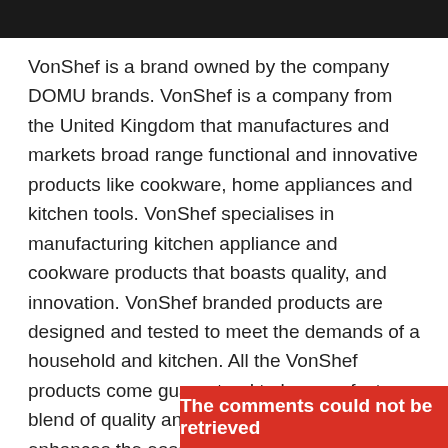[Figure (photo): Dark/black image strip at top of page, partial photo]
VonShef is a brand owned by the company DOMU brands. VonShef is a company from the United Kingdom that manufactures and markets broad range functional and innovative products like cookware, home appliances and kitchen tools. VonShef specialises in manufacturing kitchen appliance and cookware products that boasts quality, and innovation. VonShef branded products are designed and tested to meet the demands of a household and kitchen. All the VonShef products come guaranteed to be a perfect blend of quality and functionality that enhances the ease of working in the kitch
The comments could not be retrieved